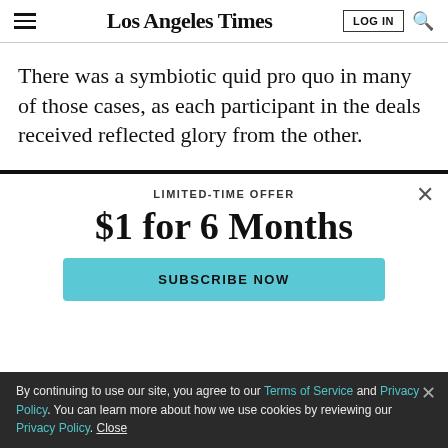Los Angeles Times
There was a symbiotic quid pro quo in many of those cases, as each participant in the deals received reflected glory from the other.
LIMITED-TIME OFFER
$1 for 6 Months
SUBSCRIBE NOW
By continuing to use our site, you agree to our Terms of Service and Privacy Policy. You can learn more about how we use cookies by reviewing our Privacy Policy. Close